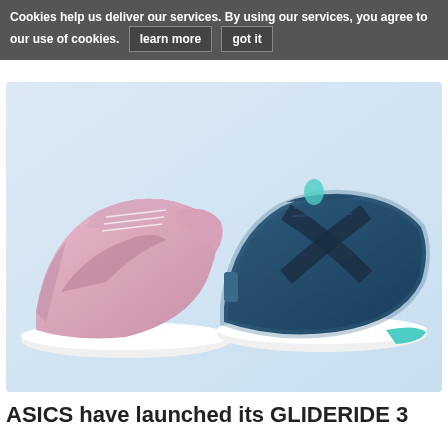Cookies help us deliver our services. By using our services, you agree to our use of cookies.  learn more  got it
[Figure (photo): Two ASICS running shoes side by side against a light blue gradient background. On the left is a pink/mauve women's shoe and on the right is a dark navy blue men's shoe, both with white soles.]
ASICS have launched its GLIDERIDE 3